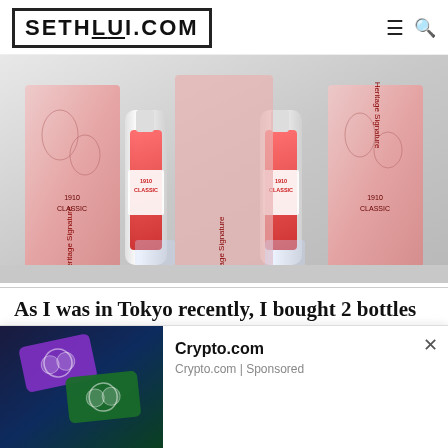SETHLUI.COM
[Figure (photo): Two bottles of 1910 Classic Heritage Signature Singapore Sling premade cocktail in red liquid, standing in front of their pink floral gift boxes on a window ledge]
As I was in Tokyo recently, I bought 2 bottles of premade Singapore Sling from Changi Airport as gifts
[Figure (photo): Crypto.com advertisement banner showing two cryptocurrency debit cards — one purple and one green — with the Crypto.com logo rings, on a dark blue-green gradient background]
Crypto.com
Crypto.com | Sponsored